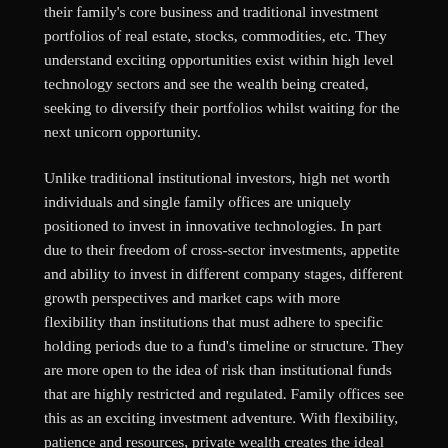their family's core business and traditional investment portfolios of real estate, stocks, commodities, etc. They understand exciting opportunities exist within high level technology sectors and see the wealth being created, seeking to diversify their portfolios whilst waiting for the next unicorn opportunity.
Unlike traditional institutional investors, high net worth individuals and single family offices are uniquely positioned to invest in innovative technologies. In part due to their freedom of cross-sector investments, appetite and ability to invest in different company stages, different growth perspectives and market caps with more flexibility than institutions that must adhere to specific holding periods due to a fund's timeline or structure. They are more open to the idea of risk than institutional funds that are highly restricted and regulated. Family offices see this as an exciting investment adventure. With flexibility, patience and resources, private wealth creates the ideal long-term investor base.